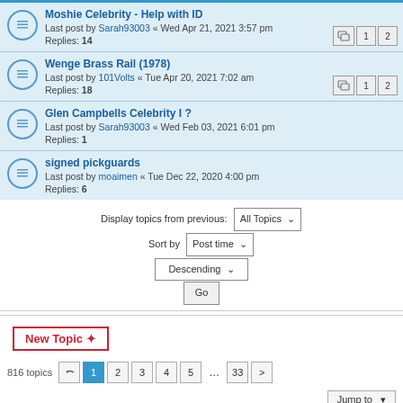Moshie Celebrity - Help with ID
Last post by Sarah93003 « Wed Apr 21, 2021 3:57 pm
Replies: 14
Wenge Brass Rail (1978)
Last post by 101Volts « Tue Apr 20, 2021 7:02 am
Replies: 18
Glen Campbells Celebrity I ?
Last post by Sarah93003 « Wed Feb 03, 2021 6:01 pm
Replies: 1
signed pickguards
Last post by moaimen « Tue Dec 22, 2020 4:00 pm
Replies: 6
Display topics from previous: All Topics ▼
Sort by Post time ▼
Descending ▼
Go
New Topic ✦
816 topics  1 2 3 4 5 … 33 >
Jump to
WHO IS ONLINE
Users browsing this forum: No registered users and 42 guests
FORUM PERMISSIONS